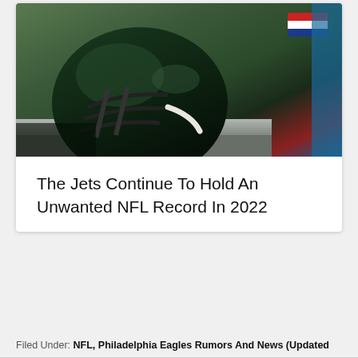[Figure (photo): Close-up photo of a green NFL football helmet on a bench, with an American flag decal visible, dark background with red and blue elements]
The Jets Continue To Hold An Unwanted NFL Record In 2022
Filed Under: NFL, Philadelphia Eagles Rumors And News (Updated Daily)
Tagged With: Philadelphia Eagles